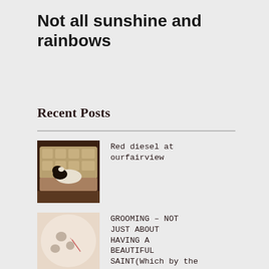Not all sunshine and rainbows
Recent Posts
Red diesel at ourfairview
GROOMING – NOT JUST ABOUT HAVING A BEAUTIFUL SAINT(Which by the way, I do.)